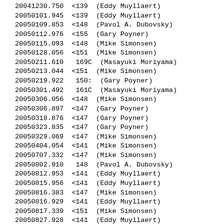20041230.750  <139  (Eddy Muyllaert)
20050101.945  <139  (Eddy Muyllaert)
20050109.853  <148  (Pavol A. Dubovsky)
20050112.976  <155  (Gary Poyner)
20050115.093  <148  (Mike Simonsen)
20050128.056  <151  (Mike Simonsen)
20050211.610   169C  (Masayuki Moriyama)
20050213.044  <151  (Mike Simonsen)
20050219.922   150:  (Gary Poyner)
20050301.492   161C  (Masayuki Moriyama)
20050306.056  <148  (Mike Simonsen)
20050306.897  <147  (Gary Poyner)
20050318.876  <147  (Gary Poyner)
20050323.835  <147  (Gary Poyner)
20050329.069  <147  (Mike Simonsen)
20050404.054  <141  (Mike Simonsen)
20050707.332  <147  (Mike Simonsen)
20050802.910   148  (Pavol A. Dubovsky)
20050812.953  <141  (Eddy Muyllaert)
20050815.956  <141  (Eddy Muyllaert)
20050816.383  <147  (Mike Simonsen)
20050816.929  <141  (Eddy Muyllaert)
20050817.339  <151  (Mike Simonsen)
20050827.928  <141  (Eddy Muyllaert)
20050828.919  <141  (Eddy Muyllaert)
20050829.923  <141  (Eddy Muyllaert)
20050831.935  <141  (Eddy Muyllaert)
20050902.051   145  (Pavol A. Dubovsky)
20050902.128   140  (Gary Poyner)
20050902.376   142  (Mike Simonsen)